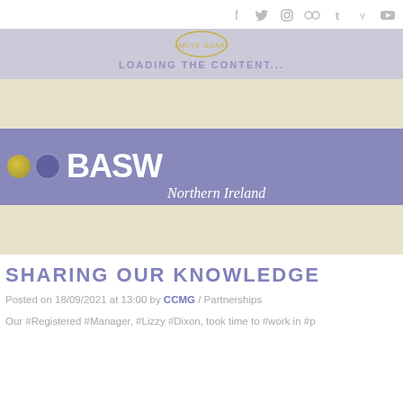Social media icons: Facebook, Twitter, Instagram, Flickr, Tumblr, Vimeo, YouTube
[Figure (screenshot): Website loading banner with circular logo (DARIYE GUARD text) and 'LOADING THE CONTENT...' text on lavender/purple background]
[Figure (photo): Photo of a BASW Northern Ireland banner/ribbon with logos on left, large BASW text and 'Northern Ireland' italic text in white on a bluish-purple banner, set against a cream/beige striped background]
SHARING OUR KNOWLEDGE
Posted on 18/09/2021 at 13:00 by CCMG / Partnerships
Our #Registered #Manager, #Lizzy #Dixon, took time to #work in #p